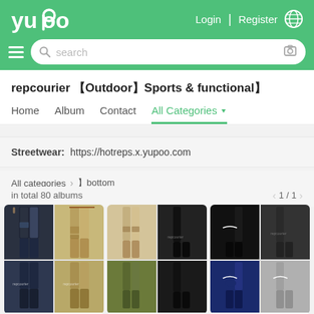yupoo | Login | Register
repcourier 【Outdoor】Sports & functional】
Home  Album  Contact  All Categories
Streetwear:  https://hotreps.x.yupoo.com
All categories  >  】bottom
in total 80 albums   < 1 / 1 >
[Figure (photo): Three product cards showing pants/trousers in various styles and colors including dark navy cargo pants, khaki pants, black joggers, olive green pants, and Nike branded pants in multiple colors]